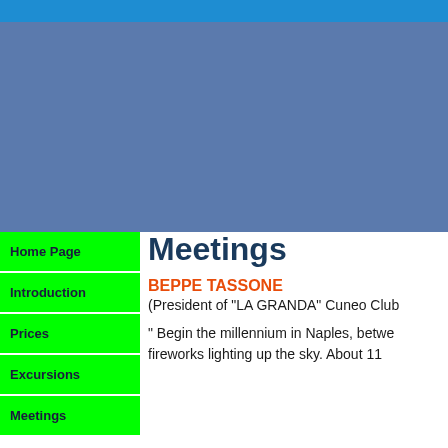[Figure (other): Blue header bar at top of page]
[Figure (other): Large blue-grey rectangular image/banner area]
Home Page
Introduction
Prices
Excursions
Meetings
Meetings
BEPPE TASSONE
(President of "LA GRANDA" Cuneo Club
" Begin the millennium in Naples, betwe fireworks lighting up the sky. About 11